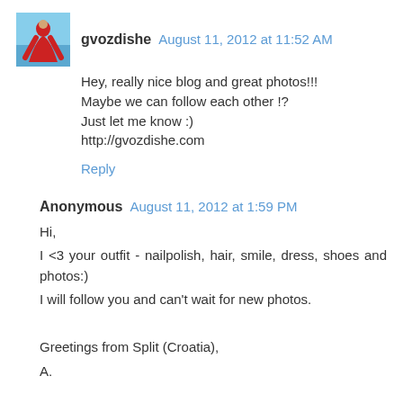[Figure (photo): Small avatar image showing a person in a red flowing dress against a blue sky background]
gvozdishe  August 11, 2012 at 11:52 AM
Hey, really nice blog and great photos!!!
Maybe we can follow each other !?
Just let me know :)
http://gvozdishe.com
Reply
Anonymous  August 11, 2012 at 1:59 PM
Hi,
I <3 your outfit - nailpolish, hair, smile, dress, shoes and photos:)
I will follow you and can't wait for new photos.

Greetings from Split (Croatia),
A.

PS.
You can check my blog, it's about love, city and beauty of living... I'm looking forward to your comments and I will follow...